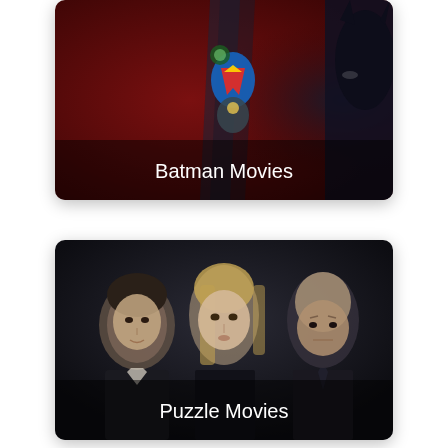[Figure (illustration): Batman Movies card with dark red background featuring Batman and DC superhero characters (Superman, Green Lantern), white text 'Batman Movies' at bottom]
[Figure (photo): Puzzle Movies card with dark background featuring three actors (man on left, blonde woman in center, bald man on right), white text 'Puzzle Movies' at bottom]